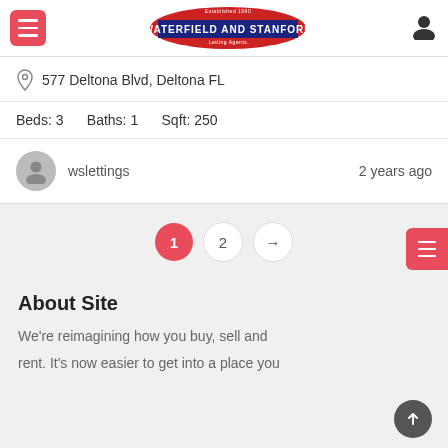Waterfield and Stanford - Letting Agents
577 Deltona Blvd, Deltona FL
Beds: 3   Baths: 1   Sqft: 250
wslettings   2 years ago
1  2  →
About Site
We're reimagining how you buy, sell and rent. It's now easier to get into a place you